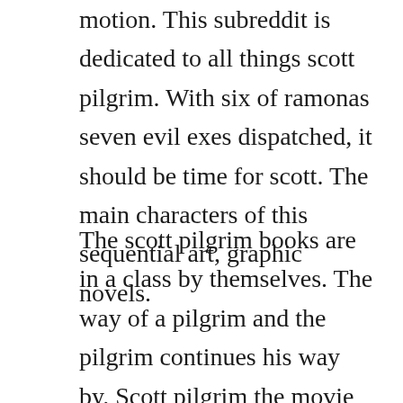motion. This subreddit is dedicated to all things scott pilgrim. With six of ramonas seven evil exes dispatched, it should be time for scott. The main characters of this sequential art, graphic novels.
The scott pilgrim books are in a class by themselves. The way of a pilgrim and the pilgrim continues his way by. Scott pilgrim the movie vs scott pilgrim the comic. Bryan lee omalley is the creator of the bestselling scott pilgrim graphic novel series, which was adapted into a major motion picture, scott pilgrim vs. Derek thomas as he leads a guided